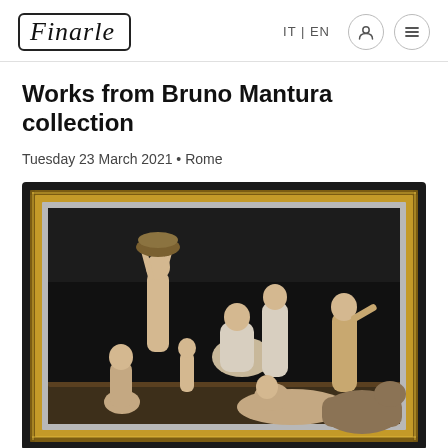Finarle — IT | EN
Works from Bruno Mantura collection
Tuesday 23 March 2021 • Rome
[Figure (photo): Framed classical painting showing multiple nude and draped figures in a bas-relief style composition on a dark background, within an ornate gold and black frame.]